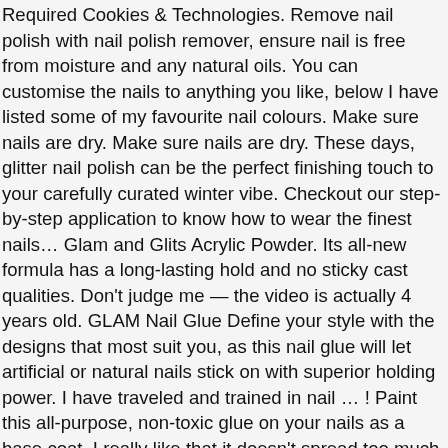Required Cookies & Technologies. Remove nail polish with nail polish remover, ensure nail is free from moisture and any natural oils. You can customise the nails to anything you like, below I have listed some of my favourite nail colours. Make sure nails are dry. Make sure nails are dry. These days, glitter nail polish can be the perfect finishing touch to your carefully curated winter vibe. Checkout our step-by-step application to know how to wear the finest nails… Glam and Glits Acrylic Powder. Its all-new formula has a long-lasting hold and no sticky cast qualities. Don't judge me — the video is actually 4 years old. GLAM Nail Glue Define your style with the designs that most suit you, as this nail glue will let artificial or natural nails stick on with superior holding power. I have traveled and trained in nail … ! Paint this all-purpose, non-toxic glue on your nails as a base coat. I really like that it doesn't spread too much like some others I've used. $7.99 $ 7. Join Our News Letter! The glue will coat your nails, and then just peel off when you're ready for a new look! From shop KawaiiNailBoutique. $7.99. I opt-in to a better browsing experience. It is made up of 100… Fildena tablet is a respected drug for the